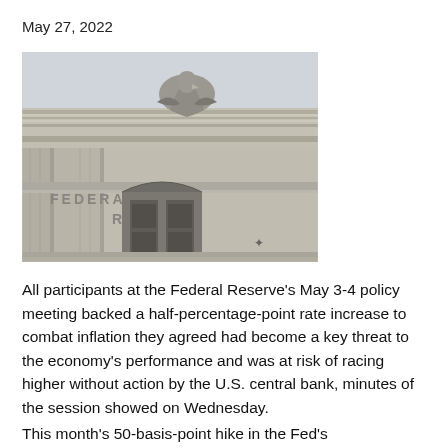May 27, 2022
[Figure (photo): Exterior of the Federal Reserve building showing eagle sculpture at top and engraved text reading FEDERAL RESERVE on the stone facade]
All participants at the Federal Reserve's May 3-4 policy meeting backed a half-percentage-point rate increase to combat inflation they agreed had become a key threat to the economy's performance and was at risk of racing higher without action by the U.S. central bank, minutes of the session showed on Wednesday.
This month's 50-basis-point hike in the Fed's